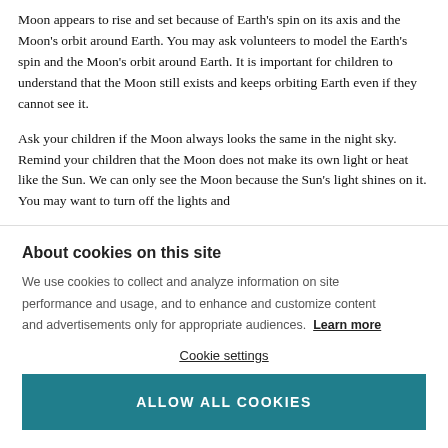Moon appears to rise and set because of Earth's spin on its axis and the Moon's orbit around Earth. You may ask volunteers to model the Earth's spin and the Moon's orbit around Earth. It is important for children to understand that the Moon still exists and keeps orbiting Earth even if they cannot see it.
Ask your children if the Moon always looks the same in the night sky. Remind your children that the Moon does not make its own light or heat like the Sun. We can only see the Moon because the Sun's light shines on it. You may want to turn off the lights and
About cookies on this site
We use cookies to collect and analyze information on site performance and usage, and to enhance and customize content and advertisements only for appropriate audiences. Learn more
Cookie settings
ALLOW ALL COOKIES